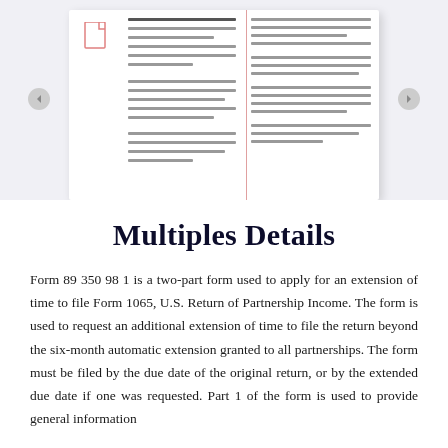[Figure (illustration): Preview thumbnail of a form document (Form 89 350 98 1), shown as a white card with simulated text lines in two columns, a document icon on the left, and navigation arrows on the sides. Background is light gray.]
Multiples Details
Form 89 350 98 1 is a two-part form used to apply for an extension of time to file Form 1065, U.S. Return of Partnership Income. The form is used to request an additional extension of time to file the return beyond the six-month automatic extension granted to all partnerships. The form must be filed by the due date of the original return, or by the extended due date if one was requested. Part 1 of the form is used to provide general information